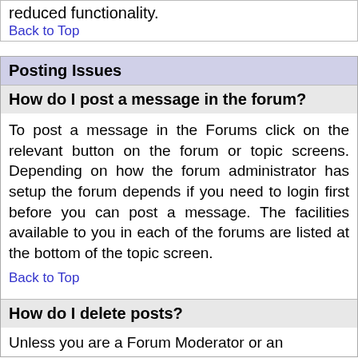reduced functionality.
Back to Top
Posting Issues
How do I post a message in the forum?
To post a message in the Forums click on the relevant button on the forum or topic screens. Depending on how the forum administrator has setup the forum depends if you need to login first before you can post a message. The facilities available to you in each of the forums are listed at the bottom of the topic screen.
Back to Top
How do I delete posts?
Unless you are a Forum Moderator or an